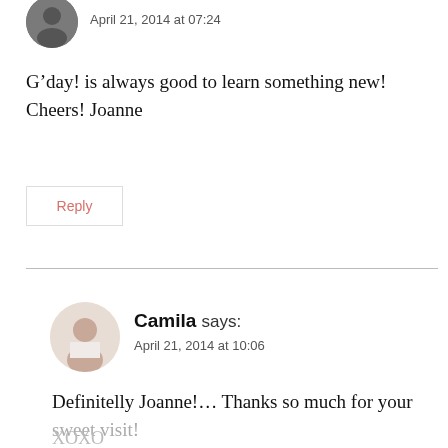April 21, 2014 at 07:24
G’day! is always good to learn something new! Cheers! Joanne
Reply
Camila says: April 21, 2014 at 10:06
Definitelly Joanne!… Thanks so much for your sweet visit!
XOXO